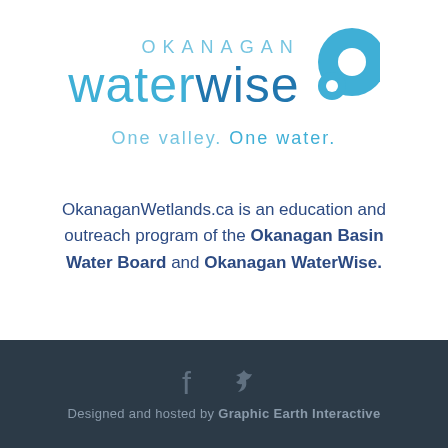[Figure (logo): Okanagan WaterWise logo with bubble/circle icon, text reading OKANAGAN waterwise, and tagline One valley. One water.]
OkanaganWetlands.ca is an education and outreach program of the Okanagan Basin Water Board and Okanagan WaterWise.
[Figure (other): Dark footer bar with Facebook and Twitter social icons and text: Designed and hosted by Graphic Earth Interactive]